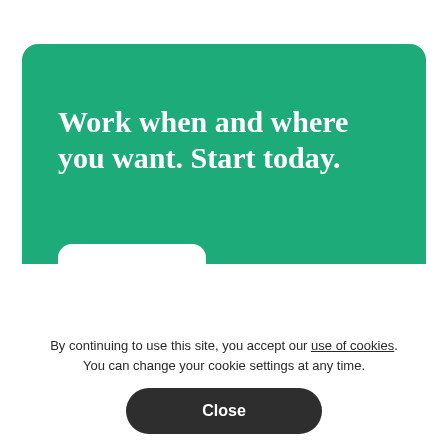Work when and where you want. Start today.
Get Started
[Figure (screenshot): Orange horizontal bar partially visible at bottom of green card section]
By continuing to use this site, you accept our use of cookies. You can change your cookie settings at any time.
Close